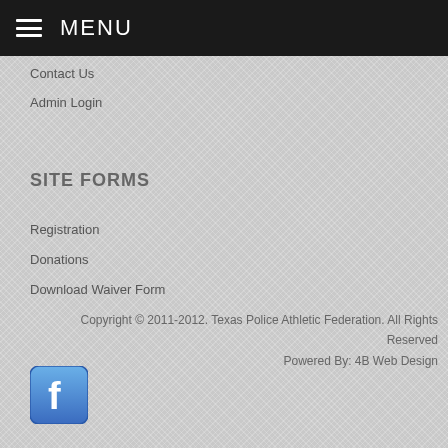MENU
Contact Us
Admin Login
SITE FORMS
Registration
Donations
Download Waiver Form
Copyright © 2011-2012. Texas Police Athletic Federation. All Rights Reserved
Powered By: 4B Web Design
[Figure (logo): Facebook logo icon — blue rounded square with white letter f]